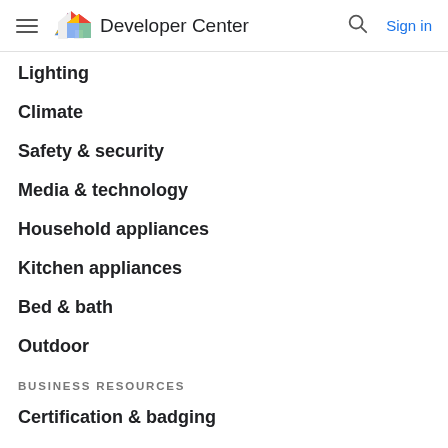Developer Center
Lighting
Climate
Safety & security
Media & technology
Household appliances
Kitchen appliances
Bed & bath
Outdoor
BUSINESS RESOURCES
Certification & badging
Marketing resources